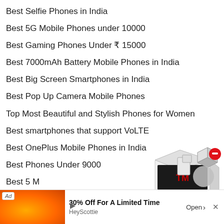Best Selfie Phones in India
Best 5G Mobile Phones under 10000
Best Gaming Phones Under ₹ 15000
Best 7000mAh Battery Mobile Phones in India
Best Big Screen Smartphones in India
Best Pop Up Camera Mobile Phones
Top Most Beautiful and Stylish Phones for Women
Best smartphones that support VoLTE
Best OnePlus Mobile Phones in India
Best Phones Under 9000
Best 5 M…
[Figure (illustration): 3D box advertisement with red minus button in top right corner, showing a dark package with red text and product items inside]
[Figure (other): Gray circle element]
[Figure (other): Advertisement banner: Ad label, orange image, '30% Off For A Limited Time' headline, 'HeyScottie' source, Open arrow button, close X button]